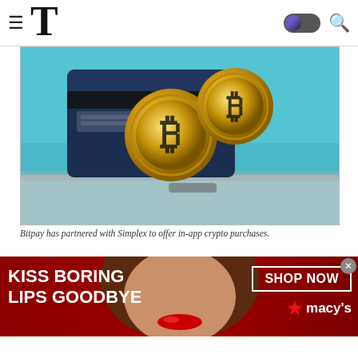≡ T [navigation bar with hamburger menu, Times logo, dark mode toggle, search icon]
[Figure (photo): Two gold Bitcoin coins standing upright in front of a dark navy blue credit card, on a teal/blue-gray background. Coins display the Bitcoin 'B' symbol.]
Bitpay has partnered with Simplex to offer in-app crypto purchases.
The goal of adding more crypto accessibility into the Bitpay app is to "eliminate the need to navigate a cryptocurrency exchange to fund payments." "Cryptocurrency exchanges can be intimidating for new users," Bitnav's co-founder and CEO Stephen Pair explained
[Figure (photo): Advertisement banner: Macy's ad with woman's face, red background, text 'KISS BORING LIPS GOODBYE', 'SHOP NOW' button, and Macy's star logo.]